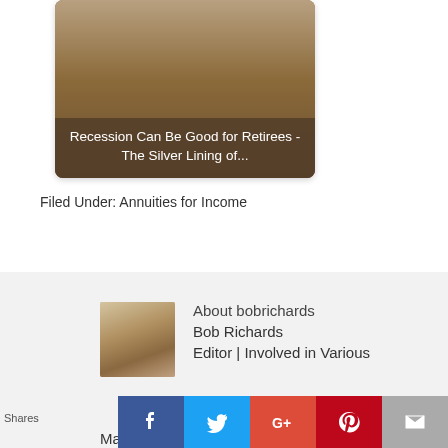[Figure (photo): Image card showing an elderly person with overlay text about recession and retirees]
Filed Under: Annuities for Income
[Figure (photo): Author profile photo of Bob Richards]
About bobrichards
Bob Richards
Editor | Involved in Various Marketing Positions within the Financial Services Industry
Shares